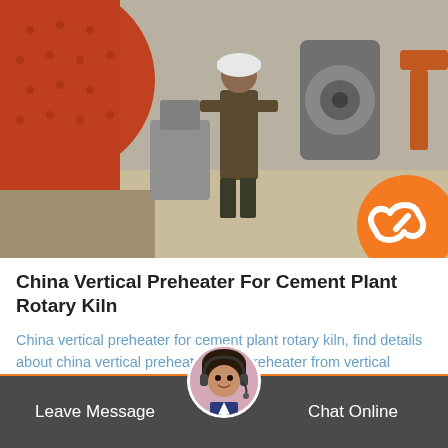[Figure (photo): Industrial photo of a worker in hard hat standing next to large orange/red cylindrical industrial equipment (rotary kiln or ball mill), with gears and machinery visible in the background]
China Vertical Preheater For Cement Plant Rotary Kiln
China vertical preheater for cement plant rotary kiln, find details about china vertical preheater, new preheater from vertical preheater for cement plant rotary kiln…